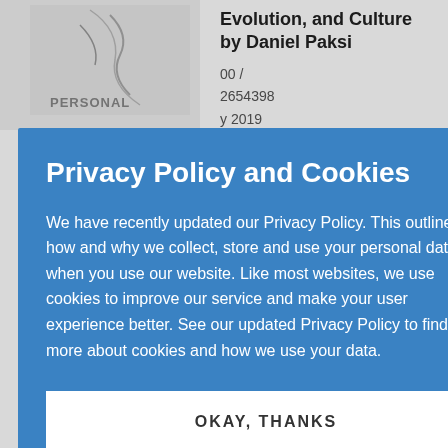[Figure (screenshot): Background page showing book details: 'Evolution, and Culture by Daniel Paksi', with metadata including numbers like 2654398, year 2019, format paperback, and partial description text ending with 'atoms...']
Privacy Policy and Cookies
We have recently updated our Privacy Policy. This outlines how and why we collect, store and use your personal data when you use our website. Like most websites, we use cookies to improve our service and make your user experience better. See our updated Privacy Policy to find out more about cookies and how we use your data.
OKAY, THANKS